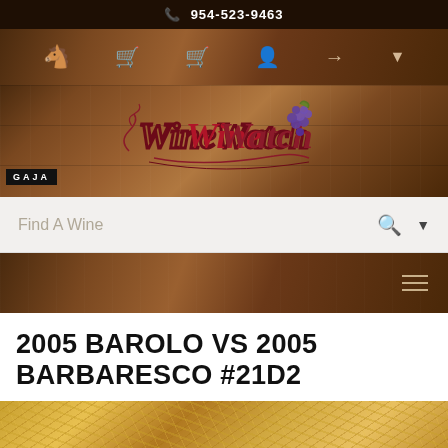954-523-9463
[Figure (logo): WineWatch script logo with grape cluster]
[Figure (screenshot): Search bar with 'Find A Wine' placeholder, search icon and dropdown arrow]
2005 BAROLO VS 2005 BARBARESCO #21D2
[Figure (photo): Wine bottles in golden straw/shredded paper packaging]